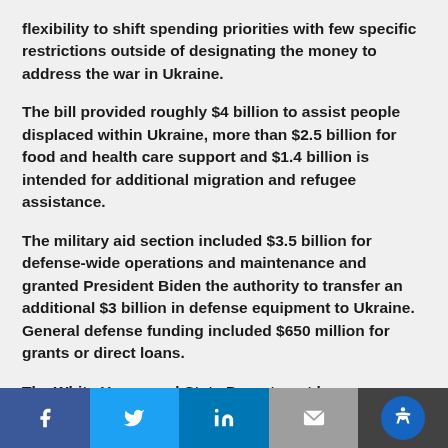flexibility to shift spending priorities with few specific restrictions outside of designating the money to address the war in Ukraine.
The bill provided roughly $4 billion to assist people displaced within Ukraine, more than $2.5 billion for food and health care support and $1.4 billion is intended for additional migration and refugee assistance.
The military aid section included $3.5 billion for defense-wide operations and maintenance and granted President Biden the authority to transfer an additional $3 billion in defense equipment to Ukraine. General defense funding included $650 million for grants or direct loans.
The White House and State Department have
[Figure (other): Social sharing toolbar with Facebook, Twitter, LinkedIn, Email, and Accessibility buttons]